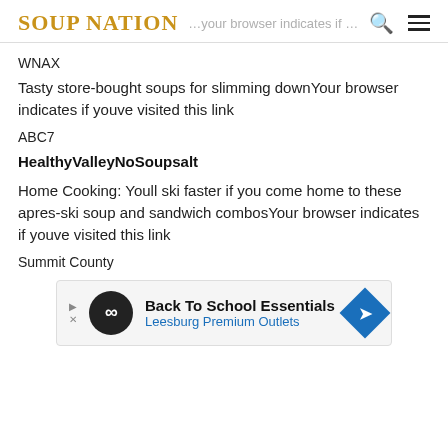SOUP NATION
WNAX
Tasty store-bought soups for slimming downYour browser indicates if youve visited this link
ABC7
HealthyValleyNoSoupsalt
Home Cooking: Youll ski faster if you come home to these apres-ski soup and sandwich combosYour browser indicates if youve visited this link
Summit County
[Figure (other): Advertisement banner for Back To School Essentials at Leesburg Premium Outlets with infinity logo and blue diamond arrow icon]